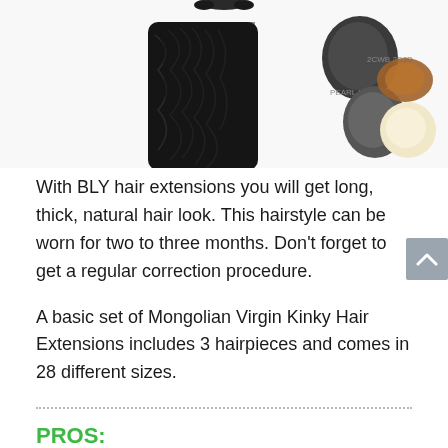[Figure (photo): Product images showing BLY kinky hair extensions and color swatches including black, dark grey, brown, and blonde options]
With BLY hair extensions you will get long, thick, natural hair look. This hairstyle can be worn for two to three months. Don't forget to get a regular correction procedure.
A basic set of Mongolian Virgin Kinky Hair Extensions includes 3 hairpieces and comes in 28 different sizes.
PROS:
blends with your hair invisibly;